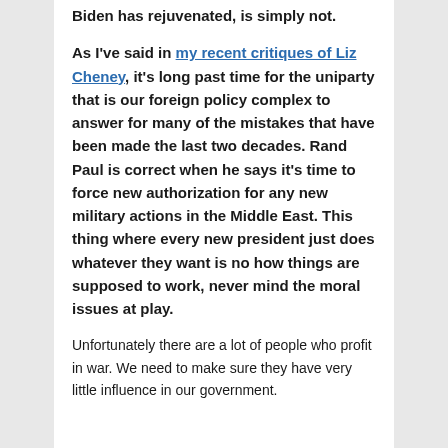Biden has rejuvenated, is simply not.
As I've said in my recent critiques of Liz Cheney, it's long past time for the uniparty that is our foreign policy complex to answer for many of the mistakes that have been made the last two decades. Rand Paul is correct when he says it's time to force new authorization for any new military actions in the Middle East. This thing where every new president just does whatever they want is no how things are supposed to work, never mind the moral issues at play.
Unfortunately there are a lot of people who profit in war. We need to make sure they have very little influence in our government.